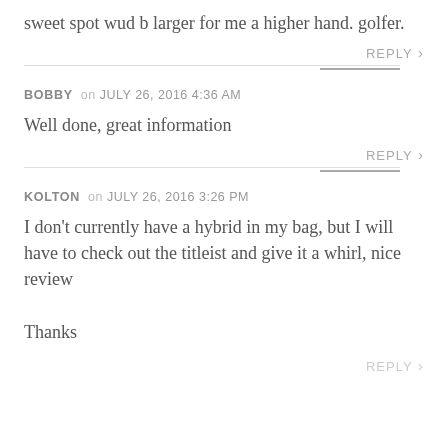sweet spot wud b larger for me a higher hand. golfer.
REPLY
BOBBY on JULY 26, 2016 4:36 AM
Well done, great information
REPLY
KOLTON on JULY 26, 2016 3:26 PM
I don't currently have a hybrid in my bag, but I will have to check out the titleist and give it a whirl, nice review

Thanks
REPLY